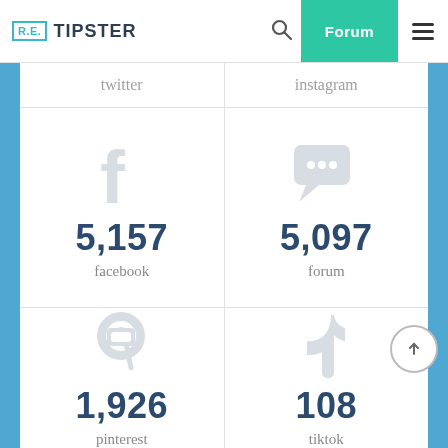[Figure (screenshot): RE.TIPSTER website header with logo, search icon, teal Forum button, and hamburger menu]
twitter
instagram
5,157
facebook
5,097
forum
1,926
pinterest
108
tiktok